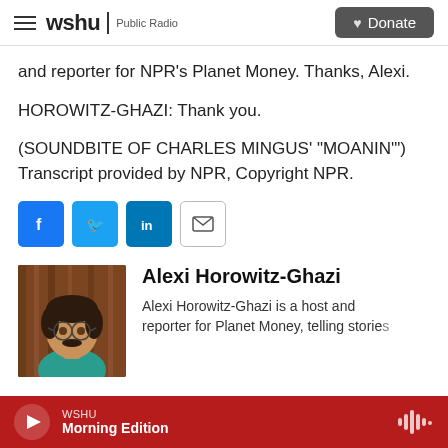wshu | Public Radio — Donate
and reporter for NPR's Planet Money. Thanks, Alexi.
HOROWITZ-GHAZI: Thank you.
(SOUNDBITE OF CHARLES MINGUS' "MOANIN") Transcript provided by NPR, Copyright NPR.
[Figure (other): Social sharing buttons: Facebook, Twitter, LinkedIn, Email]
[Figure (photo): Headshot photo of Alexi Horowitz-Ghazi, a young man with glasses and a mustache, wearing a teal shirt, against a wood background]
Alexi Horowitz-Ghazi
Alexi Horowitz-Ghazi is a host and reporter for Planet Money, telling stories
WSHU Morning Edition — audio player